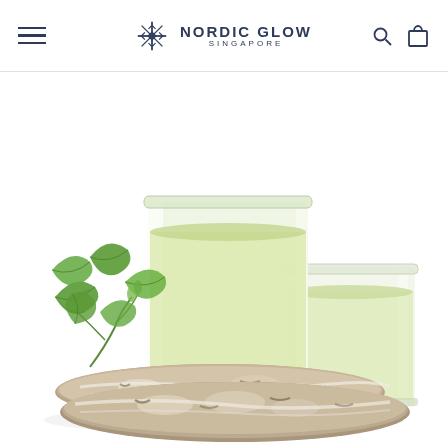Nordic Glow Singapore — navigation header with hamburger menu, logo, search and cart icons
[Figure (photo): Product photo of two glass tumblers filled with pale yellow birch water/juice, placed on birch wood log slices, with green birch leaves on the left side, against a white background]